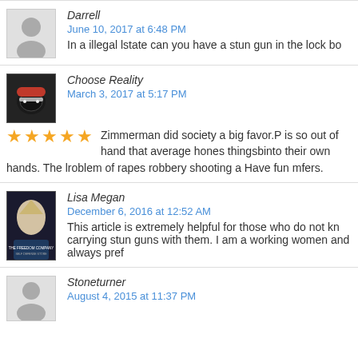[Figure (other): User avatar placeholder (gray silhouette)]
Darrell
June 10, 2017 at 6:48 PM
In a illegal lstate can you have a stun gun in the lock bo
[Figure (photo): Dark avatar with masked figure in red hat]
Choose Reality
March 3, 2017 at 5:17 PM
Zimmerman did society a big favor.P is so out of hand that average hones thingsbinto their own hands. The lroblem of rapes robbery shooting a Have fun mfers.
[Figure (photo): The Freedom Company self defense store logo avatar]
Lisa Megan
December 6, 2016 at 12:52 AM
This article is extremely helpful for those who do not kn carrying stun guns with them. I am a working women and always pref
[Figure (other): User avatar placeholder (gray silhouette)]
Stoneturner
August 4, 2015 at 11:37 PM